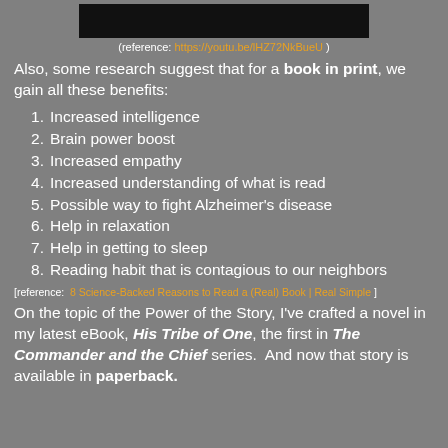[Figure (other): Black rectangle banner at top center of page]
(reference: https://youtu.be/lHZ72NkBueU )
Also, some research suggest that for a book in print, we gain all these benefits:
1. Increased intelligence
2. Brain power boost
3. Increased empathy
4. Increased understanding of what is read
5. Possible way to fight Alzheimer's disease
6. Help in relaxation
7. Help in getting to sleep
8. Reading habit that is contagious to our neighbors
[reference: 8 Science-Backed Reasons to Read a (Real) Book | Real Simple ]
On the topic of the Power of the Story, I've crafted a novel in my latest eBook, His Tribe of One, the first in The Commander and the Chief series.  And now that story is available in paperback.